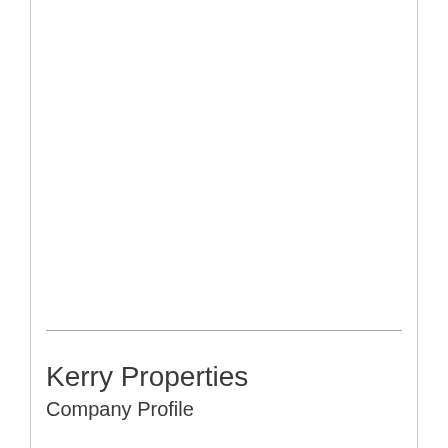Kerry Properties
Company Profile